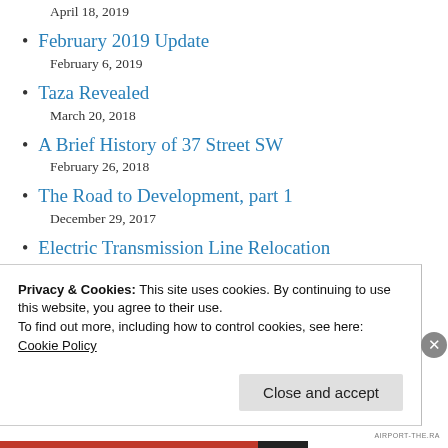April 18, 2019
February 2019 Update
February 6, 2019
Taza Revealed
March 20, 2018
A Brief History of 37 Street SW
February 26, 2018
The Road to Development, part 1
December 29, 2017
Electric Transmission Line Relocation
July 12, 2017
Privacy & Cookies: This site uses cookies. By continuing to use this website, you agree to their use.
To find out more, including how to control cookies, see here:
Cookie Policy
Close and accept